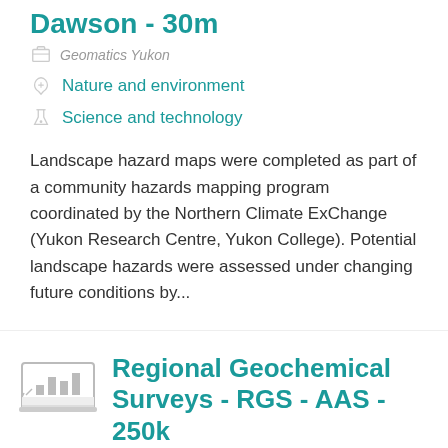Dawson - 30m
Geomatics Yukon
Nature and environment
Science and technology
Landscape hazard maps were completed as part of a community hazards mapping program coordinated by the Northern Climate ExChange (Yukon Research Centre, Yukon College). Potential landscape hazards were assessed under changing future conditions by...
Regional Geochemical Surveys - RGS - AAS - 250k
Geomatics Yukon